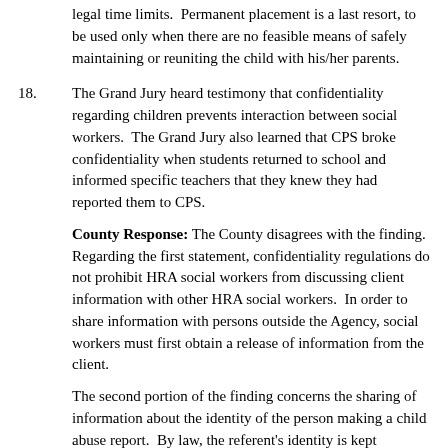legal time limits.  Permanent placement is a last resort, to be used only when there are no feasible means of safely maintaining or reuniting the child with his/her parents.
18.   The Grand Jury heard testimony that confidentiality regarding children prevents interaction between social workers.  The Grand Jury also learned that CPS broke confidentiality when students returned to school and informed specific teachers that they knew they had reported them to CPS.
County Response: The County disagrees with the finding.  Regarding the first statement, confidentiality regulations do not prohibit HRA social workers from discussing client information with other HRA social workers.  In order to share information with persons outside the Agency, social workers must first obtain a release of information from the client.
The second portion of the finding concerns the sharing of information about the identity of the person making a child abuse report.  By law, the referent's identity is kept confidential. The County is not familiar with the details of the incident described in the finding, but children are sometimes able to guess who made the referral because